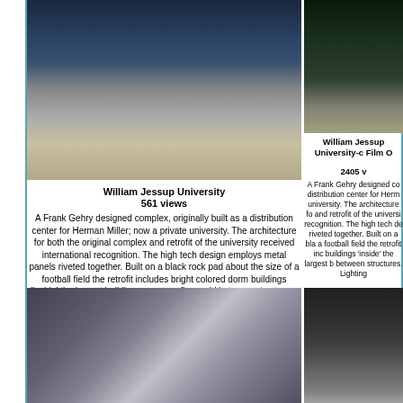[Figure (photo): Exterior night/dusk photo of William Jessup University building, Frank Gehry designed complex with glass entrance and metal panels]
William Jessup University
561 views
A Frank Gehry designed complex, originally built as a distribution center for Herman Miller; now a private university. The architecture for both the original complex and retrofit of the university received international recognition. The high tech design employs metal panels riveted together. Built on a black rock pad about the size of a football field the retrofit includes bright colored dorm buildings 'inside' the largest building, now a roofless grid between structures. Lighting and indoor outdoor halls.
[Figure (photo): Night exterior photo of William Jessup University - Film O location, showing pathway and building]
William Jessup University-c Film O
2405 v
A Frank Gehry designed complex, distribution center for Herm university. The architecture fo and retrofit of the universi recognition. The high tech de riveted together. Built on a bla a football field the retrofit inc buildings 'inside' the largest b between structures. Lighting
[Figure (photo): Interior/exterior architectural photo of the Frank Gehry building showing metal panel walls and glass roof structure]
[Figure (photo): Interior architectural photo showing glass panels and structural elements of the building]